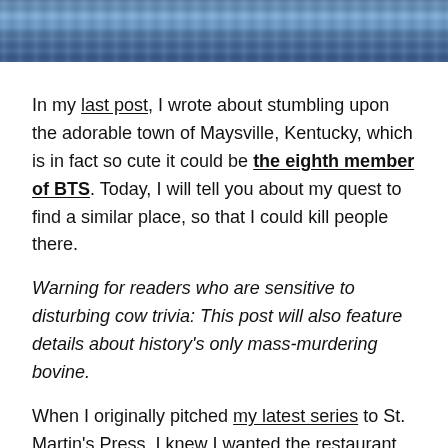[Figure (photo): Water surface with rippling blue ocean/lake waves, cropped at top of page]
In my last post, I wrote about stumbling upon the adorable town of Maysville, Kentucky, which is in fact so cute it could be the eighth member of BTS. Today, I will tell you about my quest to find a similar place, so that I could kill people there.
Warning for readers who are sensitive to disturbing cow trivia: This post will also feature details about history's only mass-murdering bovine.
When I originally pitched my latest series to St. Martin's Press, I knew I wanted the restaurant at the heart of the books to serve deep-dish pizzas, which to me, necessitated setting the series in the home of deep-dish: Chicago. Fairly early in the process, I'd settled on centering the action in the Hyde Park neighborhood. It's an